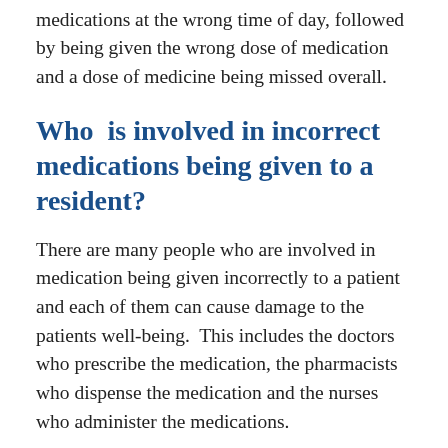medications at the wrong time of day, followed by being given the wrong dose of medication and a dose of medicine being missed overall.
Who  is involved in incorrect medications being given to a resident?
There are many people who are involved in medication being given incorrectly to a patient and each of them can cause damage to the patients well-being.  This includes the doctors who prescribe the medication, the pharmacists who dispense the medication and the nurses who administer the medications.